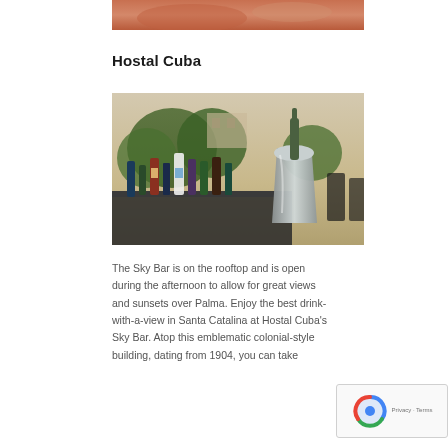[Figure (photo): Cropped top portion of a food/drink photo, orange-red tones, partially visible]
Hostal Cuba
[Figure (photo): Outdoor rooftop bar scene with bottles of liquor on a table and a champagne/wine bottle in an ice bucket, with trees and buildings in the background]
The Sky Bar is on the rooftop and is open during the afternoon to allow for great views and sunsets over Palma. Enjoy the best drink-with-a-view in Santa Catalina at Hostal Cuba's Sky Bar. Atop this emblematic colonial-style building, dating from 1904, you can take